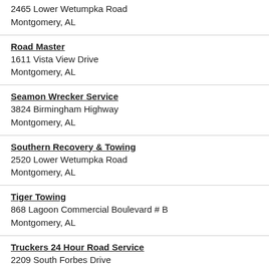2465 Lower Wetumpka Road
Montgomery, AL
Road Master
1611 Vista View Drive
Montgomery, AL
Seamon Wrecker Service
3824 Birmingham Highway
Montgomery, AL
Southern Recovery & Towing
2520 Lower Wetumpka Road
Montgomery, AL
Tiger Towing
868 Lagoon Commercial Boulevard # B
Montgomery, AL
Truckers 24 Hour Road Service
2209 South Forbes Drive